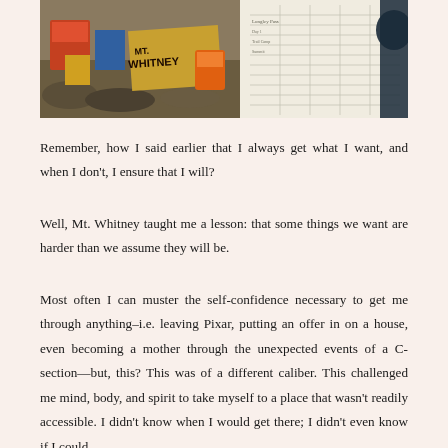[Figure (photo): Photo showing a Mt. Whitney cardboard sign, logs/rocks in outdoor setting on left side, and a handwritten log sheet on the right side, with a person's silhouette visible]
Remember, how I said earlier that I always get what I want, and when I don't, I ensure that I will?
Well, Mt. Whitney taught me a lesson: that some things we want are harder than we assume they will be.
Most often I can muster the self-confidence necessary to get me through anything–i.e. leaving Pixar, putting an offer in on a house, even becoming a mother through the unexpected events of a C-section—but, this? This was of a different caliber. This challenged me mind, body, and spirit to take myself to a place that wasn't readily accessible. I didn't know when I would get there; I didn't even know if I could.